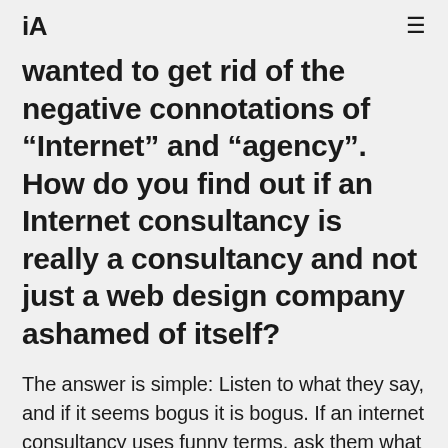iA ≡
wanted to get rid of the negative connotations of "Internet" and "agency". How do you find out if an Internet consultancy is really a consultancy and not just a web design company ashamed of itself?
The answer is simple: Listen to what they say, and if it seems bogus it is bogus. If an internet consultancy uses funny terms, ask them what they mean. If the answer is darker than the original term, they don't know what they're saying.